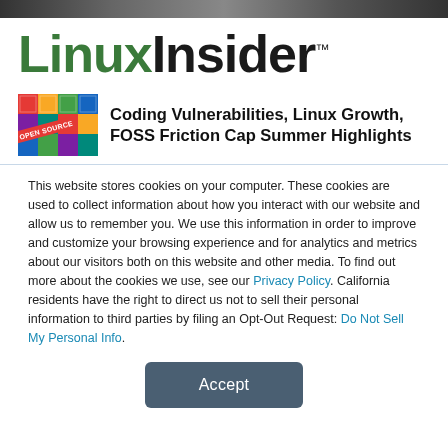[Figure (screenshot): Top decorative image bar, colorful gradient strip]
[Figure (logo): LinuxInsider logo — 'Linux' in dark green bold, 'Insider' in black bold, with TM mark]
[Figure (photo): Thumbnail image of colorful keyboard keys with 'OPEN SOURCE' red banner overlay]
Coding Vulnerabilities, Linux Growth, FOSS Friction Cap Summer Highlights
This website stores cookies on your computer. These cookies are used to collect information about how you interact with our website and allow us to remember you. We use this information in order to improve and customize your browsing experience and for analytics and metrics about our visitors both on this website and other media. To find out more about the cookies we use, see our Privacy Policy. California residents have the right to direct us not to sell their personal information to third parties by filing an Opt-Out Request: Do Not Sell My Personal Info.